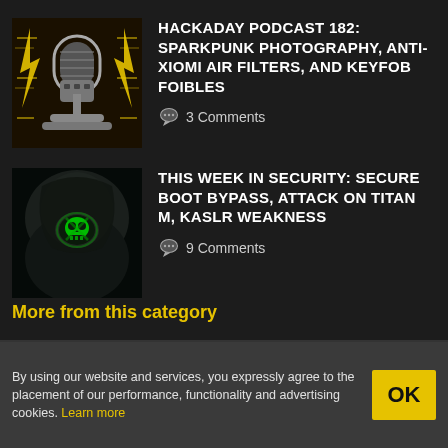[Figure (illustration): Hackaday podcast logo with a stylized steampunk microphone and yellow decorative lightning bolt elements on a dark background]
HACKADAY PODCAST 182: SPARKPUNK PHOTOGRAPHY, ANTI-XIOMI AIR FILTERS, AND KEYFOB FOIBLES
3 Comments
[Figure (illustration): Dark hooded figure with a glowing green skull-and-crossbones mask face on black background, representing cybersecurity theme]
THIS WEEK IN SECURITY: SECURE BOOT BYPASS, ATTACK ON TITAN M, KASLR WEAKNESS
9 Comments
More from this category
By using our website and services, you expressly agree to the placement of our performance, functionality and advertising cookies. Learn more